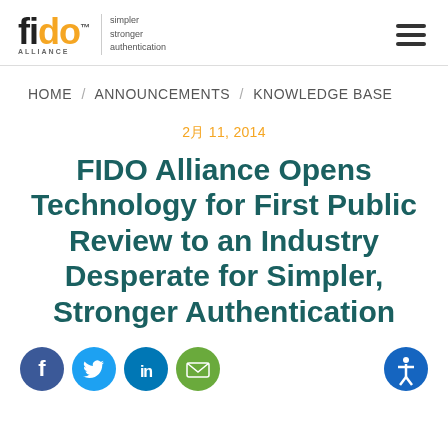FIDO Alliance — simpler stronger authentication — hamburger menu
HOME / ANNOUNCEMENTS / KNOWLEDGE BASE
2月 11, 2014
FIDO Alliance Opens Technology for First Public Review to an Industry Desperate for Simpler, Stronger Authentication